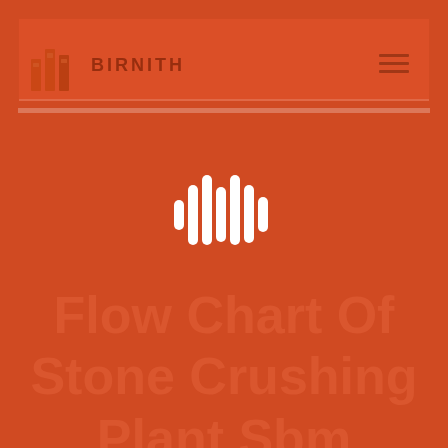[Figure (screenshot): Birnith website screenshot showing a header navigation bar with the Birnith logo (orange building icon) and brand name, a hamburger menu icon on the right, and a page overlay with audio/sound wave icon in the center. Background shows an industrial stone crushing plant in orange-tinted overlay.]
BIRNITH
Flow Chart Of Stone Crushing Plant Sbm